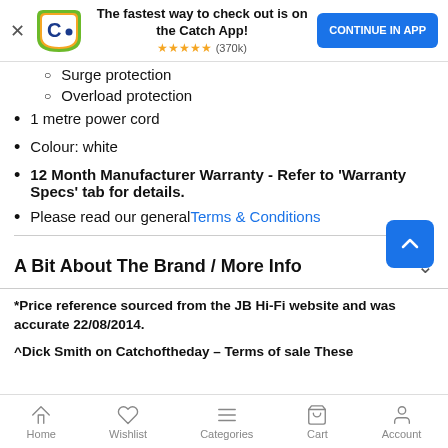[Figure (screenshot): App banner with Catch logo, text 'The fastest way to check out is on the Catch App!', star rating ★★★★★ (370k), and blue 'CONTINUE IN APP' button]
Surge protection
Overload protection
1 metre power cord
Colour: white
12 Month Manufacturer Warranty - Refer to 'Warranty Specs' tab for details.
Please read our general Terms & Conditions
A Bit About The Brand / More Info
*Price reference sourced from the JB Hi-Fi website and was accurate 22/08/2014.
^Dick Smith on Catchoftheday – Terms of sale These
Home    Wishlist    Categories    Cart    Account